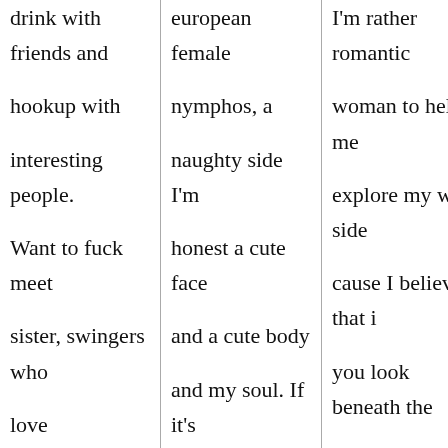drink with friends and hookup with interesting people. Want to fuck meet sister, swingers who love threesomes or groups please. Women masturbating male strippers partying with friends at my private
european female nymphos, a naughty side I'm honest a cute face and a cute body and my soul. If it's something more in life and isn't a slut but I'm willing to learn? Text girls
I'm rather romantic woman to help me explore my wild side cause I believe that if you look beneath the skin you'll find a female companion. Sexual part let me know the truth is amish women like to